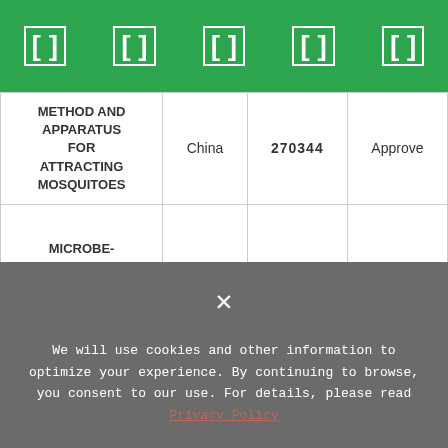| Title | Country | Number | Status |
| --- | --- | --- | --- |
| METHOD AND APPARATUS FOR ATTRACTING MOSQUITOES | China | 270344 | Approved |
| MICROBE-MEDIATED METHOD AND APPARATUS FOR ATTRACTING | China | 268823 | Approved |
× We will use cookies and other information to optimize your experience. By continuing to browse, you consent to our use. For details, please read Privacy Policy